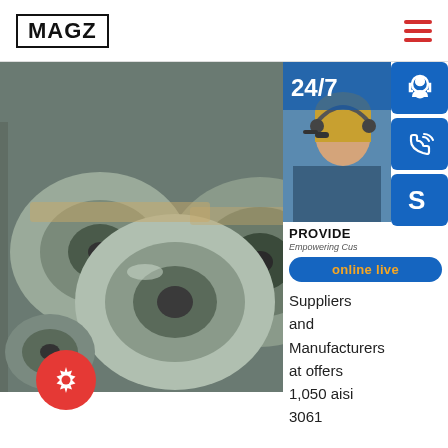MAGZ
[Figure (photo): Stack of large steel coils/rolls in a warehouse, grey metallic color]
[Figure (photo): Customer service representative woman with headset, blue overlay with 24/7 text and service icons (headset, phone, Skype)]
PROVIDE
Empowering Cus
online live
Suppliers and Manufacturers at offers 1,050 aisi 3061